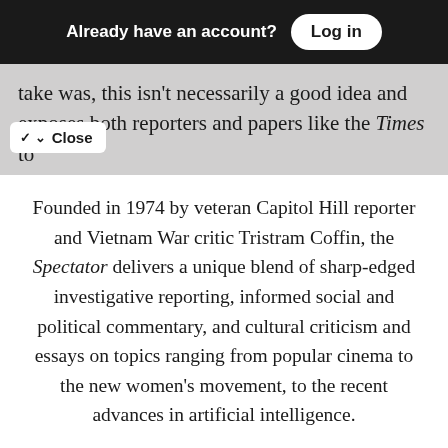Already have an account? Log in
take was, this isn't necessarily a good idea and exposes both reporters and papers like the Times to ons of bias in ways we never had to worry f...  Not only did the Times conf...
Founded in 1974 by veteran Capitol Hill reporter and Vietnam War critic Tristram Coffin, the Spectator delivers a unique blend of sharp-edged investigative reporting, informed social and political commentary, and cultural criticism and essays on topics ranging from popular cinema to the new women's movement, to the recent advances in artificial intelligence.